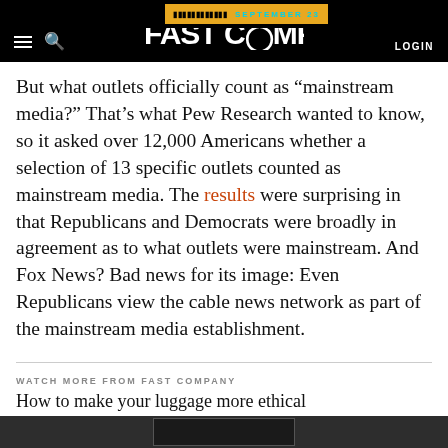Fast Company — LOGIN
But what outlets officially count as “mainstream media?” That’s what Pew Research wanted to know, so it asked over 12,000 Americans whether a selection of 13 specific outlets counted as mainstream media. The results were surprising in that Republicans and Democrats were broadly in agreement as to what outlets were mainstream. And Fox News? Bad news for its image: Even Republicans view the cable news network as part of the mainstream media establishment.
WATCH MORE FROM FAST COMPANY
How to make your luggage more ethical
[Figure (screenshot): Dark video thumbnail placeholder at the bottom of the page]